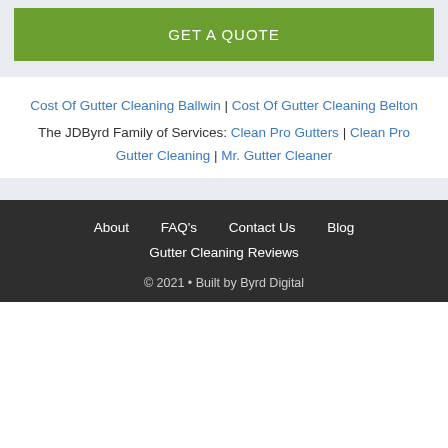GET A QUOTE
Cost Of Gutter Cleaning Ballwin | Cost Of Gutter Cleaning Belton
The JDByrd Family of Services: Clean Pro Gutters | Clean Pro Gutter Cleaning | Mr. Gutter Cleaner
About  FAQ's  Contact Us  Blog
Gutter Cleaning Reviews
© 2021 • Built by Byrd Digital